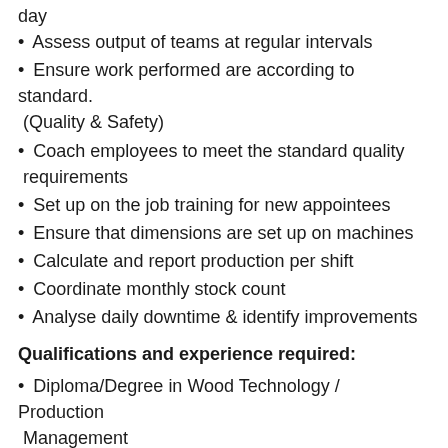day
Assess output of teams at regular intervals
Ensure work performed are according to standard. (Quality & Safety)
Coach employees to meet the standard quality requirements
Set up on the job training for new appointees
Ensure that dimensions are set up on machines
Calculate and report production per shift
Coordinate monthly stock count
Analyse daily downtime & identify improvements
Qualifications and experience required:
Diploma/Degree in Wood Technology / Production Management